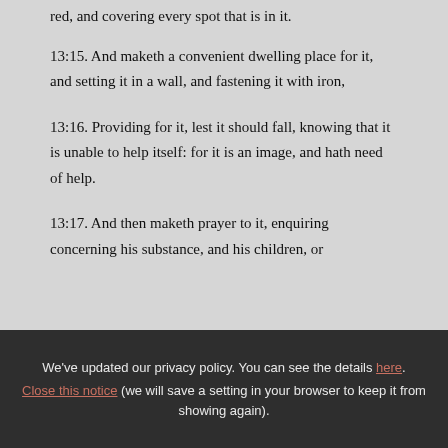red, and covering every spot that is in it.
13:15. And maketh a convenient dwelling place for it, and setting it in a wall, and fastening it with iron,
13:16. Providing for it, lest it should fall, knowing that it is unable to help itself: for it is an image, and hath need of help.
13:17. And then maketh prayer to it, enquiring concerning his substance, and his children, or
We've updated our privacy policy. You can see the details here. Close this notice (we will save a setting in your browser to keep it from showing again).